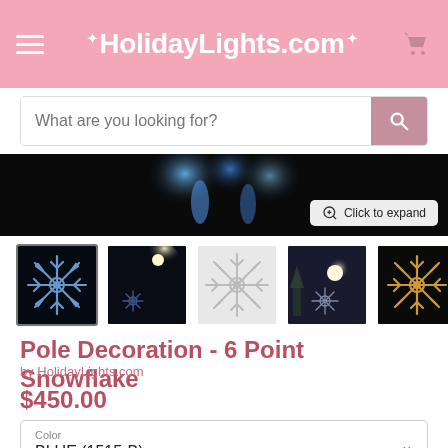HolidayLights.com
What are you looking for?
[Figure (photo): Main product image showing blue snowflake light decoration against dark background with blue lights visible at top, with 'Click to expand' button]
[Figure (photo): Thumbnail 1 (active/selected): Blue 6-point snowflake LED decoration on black background]
[Figure (photo): Thumbnail 2: Snowflake decoration on dark background with street lamp]
[Figure (photo): Thumbnail 3: White/silver 6-point snowflake on white background]
[Figure (photo): Thumbnail 4: Snowflake decoration on pole at night with warm globe light]
[Figure (photo): Thumbnail 5: Gold/warm white 6-point snowflake on dark background]
Pole Decoration - 6 Point Snowflake
by HolidayLights.com
$450.00
Color
BLUE (1515-B)